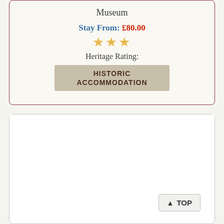Museum
Stay From: £80.00
[Figure (other): Three golden star icons representing a rating]
Heritage Rating:
HISTORIC ACCOMMODATION
[Figure (other): White content card area (empty/placeholder)]
▲ TOP